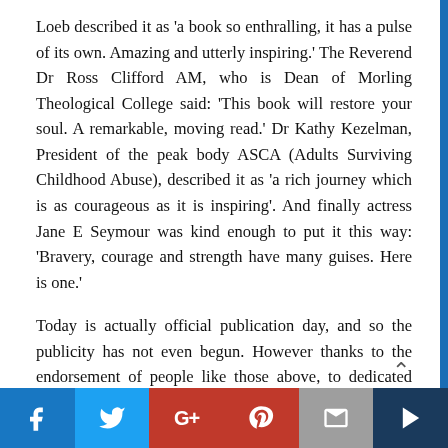Loeb described it as 'a book so enthralling, it has a pulse of its own. Amazing and utterly inspiring.' The Reverend Dr Ross Clifford AM, who is Dean of Morling Theological College said: 'This book will restore your soul. A remarkable, moving read.' Dr Kathy Kezelman, President of the peak body ASCA (Adults Surviving Childhood Abuse), described it as 'a rich journey which is as courageous as it is inspiring'. And finally actress Jane E Seymour was kind enough to put it this way: 'Bravery, courage and strength have many guises. Here is one.'
Today is actually official publication day, and so the publicity has not even begun. However thanks to the endorsement of people like those above, to dedicated bloggers like Aloi, and to the wonders of modern social media, we are already in Amazon's Top 50 Family Relationship Books. I'm still holding my breath, but the journey continues!